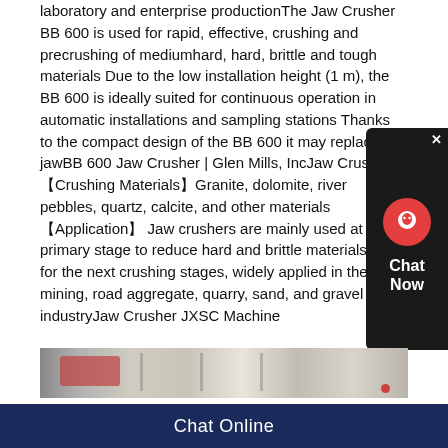laboratory and enterprise productionThe Jaw Crusher BB 600 is used for rapid, effective, crushing and precrushing of mediumhard, hard, brittle and tough materials Due to the low installation height (1 m), the BB 600 is ideally suited for continuous operation in automatic installations and sampling stations Thanks to the compact design of the BB 600 it may replace a jawBB 600 Jaw Crusher | Glen Mills, IncJaw Crusher 【Crushing Materials】Granite, dolomite, river pebbles, quartz, calcite, and other materials 【Application】 Jaw crushers are mainly used at the primary stage to reduce hard and brittle materials size for the next crushing stages, widely applied in the mining, road aggregate, quarry, sand, and gravel industryJaw Crusher JXSC Machine
[Figure (photo): Partial photo of industrial jaw crusher machinery in a facility, showing machinery with red components]
Chat Online